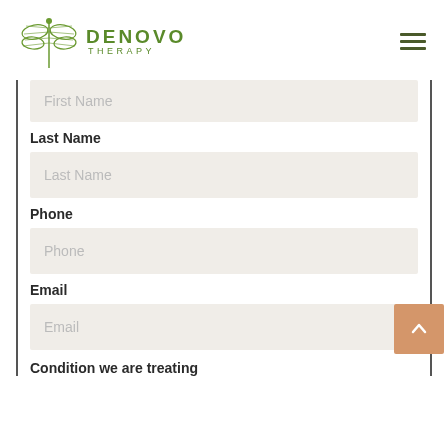[Figure (logo): Denovo Therapy logo with dragonfly illustration and text DENOVO THERAPY in green]
First Name
Last Name
Last Name
Phone
Phone
Email
Email
Condition we are treating